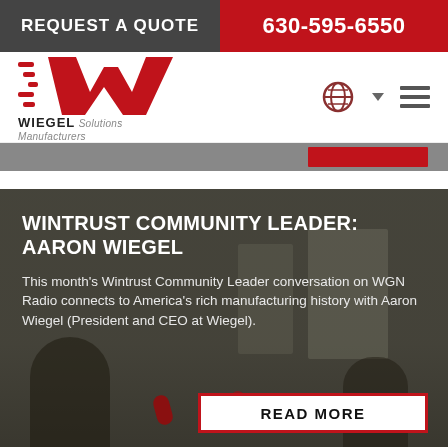REQUEST A QUOTE | 630-595-6550
[Figure (logo): Wiegel Solutions Manufacturing logo with red stylized W and speed lines]
[Figure (photo): Dark background photo of recording studio with people at microphones]
WINTRUST COMMUNITY LEADER: AARON WIEGEL
This month's Wintrust Community Leader conversation on WGN Radio connects to America's rich manufacturing history with Aaron Wiegel (President and CEO at Wiegel).
READ MORE